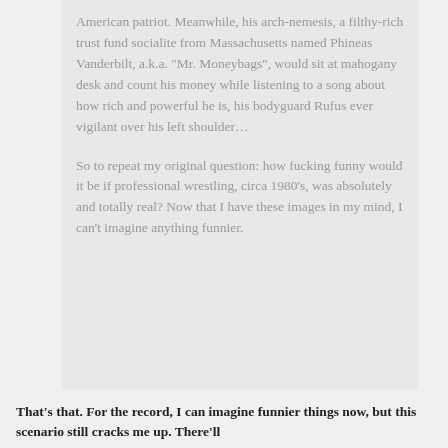American patriot. Meanwhile, his arch-nemesis, a filthy-rich trust fund socialite from Massachusetts named Phineas Vanderbilt, a.k.a. "Mr. Moneybags", would sit at mahogany desk and count his money while listening to a song about how rich and powerful he is, his bodyguard Rufus ever vigilant over his left shoulder...

So to repeat my original question: how fucking funny would it be if professional wrestling, circa 1980's, was absolutely and totally real? Now that I have these images in my mind, I can't imagine anything funnier.
That's that. For the record, I can imagine funnier things now, but this scenario still cracks me up. There'll